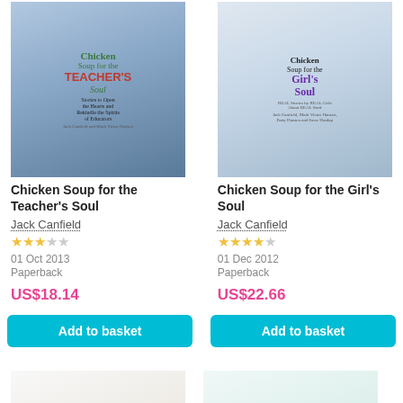[Figure (photo): Book cover of Chicken Soup for the Teacher's Soul by Jack Canfield and Mark Victor Hansen]
Chicken Soup for the Teacher's Soul
Jack Canfield
★★★☆☆
01 Oct 2013
Paperback
US$18.14
[Figure (photo): Book cover of Chicken Soup for the Girl's Soul by Jack Canfield]
Chicken Soup for the Girl's Soul
Jack Canfield
★★★★☆
01 Dec 2012
Paperback
US$22.66
Add to basket
Add to basket
[Figure (photo): Partial book cover of another Chicken Soup book (bottom left)]
[Figure (photo): Partial book cover of another Chicken Soup book (bottom right)]